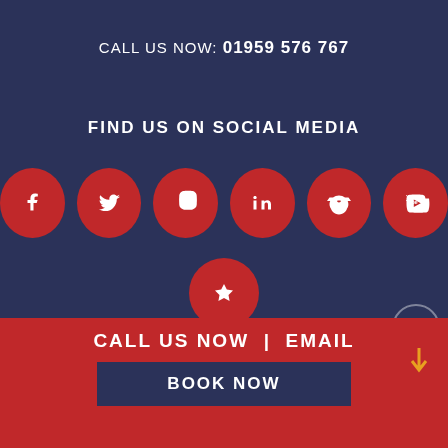CALL US NOW: 01959 576 767
FIND US ON SOCIAL MEDIA
[Figure (infographic): Seven red circular social media icons: Facebook, Twitter, Instagram, LinkedIn, TripAdvisor, YouTube (top row), and a star/review icon (bottom center)]
© Fly a Spitfire | Images © John Dibbs, Darren Harbar, Paul Campbell |)
CALL US NOW | EMAIL
BOOK NOW